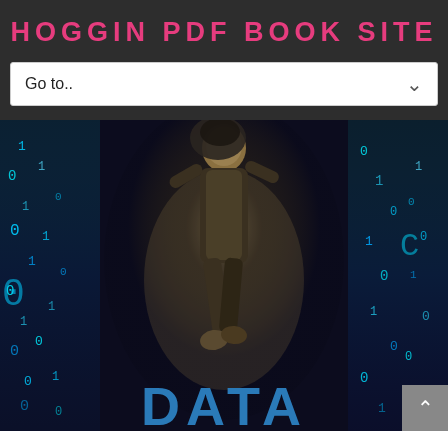HOGGIN PDF BOOK SITE
Go to..
[Figure (photo): Book cover showing a person falling/jumping through a matrix-like digital rain of binary numbers (0s and 1s) in blue-green tones, with the word DATA at the bottom in large blue letters.]
DATA